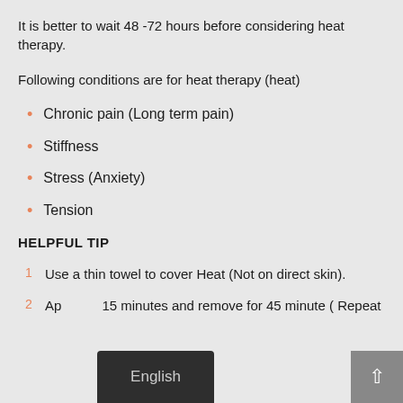It is better to wait 48 -72 hours before considering heat therapy.
Following conditions are for heat therapy (heat)
Chronic pain (Long term pain)
Stiffness
Stress (Anxiety)
Tension
HELPFUL TIP
Use a thin towel to cover Heat (Not on direct skin).
Apply for 15 minutes and remove for 45 minute ( Repeat